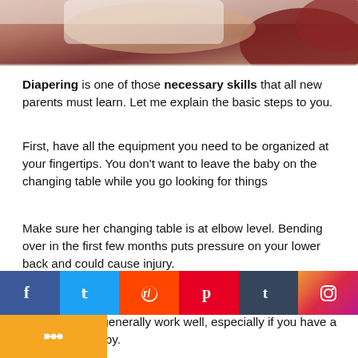[Figure (photo): Partial photo of a baby being changed, showing a diaper and red clothing at top of page]
Diapering is one of those necessary skills that all new parents must learn. Let me explain the basic steps to you.
First, have all the equipment you need to be organized at your fingertips. You don't want to leave the baby on the changing table while you go looking for things
Make sure her changing table is at elbow level. Bending over in the first few months puts pressure on your lower back and could cause injury.
Lay the baby on the table to change diapers. If you're not in a [...]ey generally [...], especially if you have a cell phone nearby.